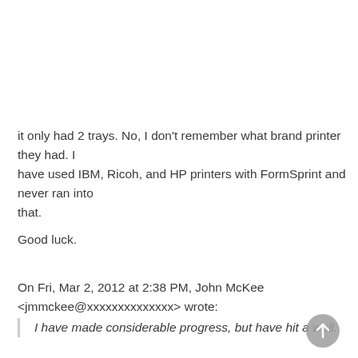it only had 2 trays. No, I don't remember what brand printer they had. I have used IBM, Ricoh, and HP printers with FormSprint and never ran into that.
Good luck.
On Fri, Mar 2, 2012 at 2:38 PM, John McKee <jmmckee@xxxxxxxxxxxxxx> wrote:
I have made considerable progress, but have hit a wall.